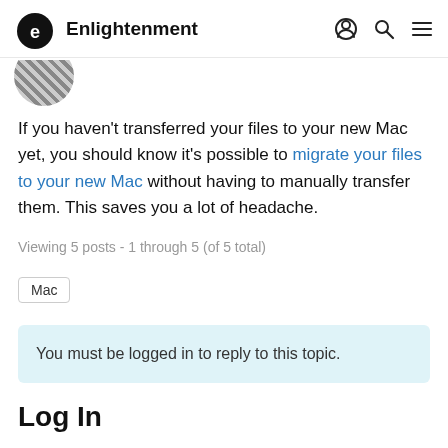Enlightenment
[Figure (photo): Partial avatar/profile image cropped at top]
If you haven't transferred your files to your new Mac yet, you should know it's possible to migrate your files to your new Mac without having to manually transfer them. This saves you a lot of headache.
Viewing 5 posts - 1 through 5 (of 5 total)
Mac
You must be logged in to reply to this topic.
Log In